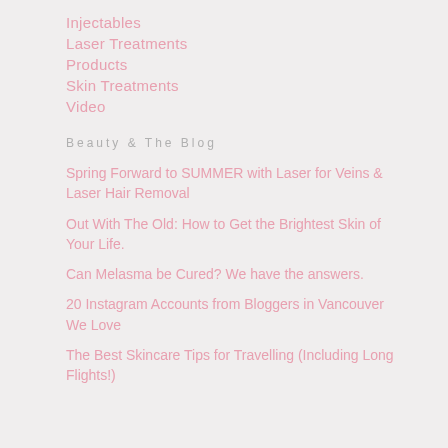Injectables
Laser Treatments
Products
Skin Treatments
Video
Beauty & The Blog
Spring Forward to SUMMER with Laser for Veins & Laser Hair Removal
Out With The Old: How to Get the Brightest Skin of Your Life.
Can Melasma be Cured? We have the answers.
20 Instagram Accounts from Bloggers in Vancouver We Love
The Best Skincare Tips for Travelling (Including Long Flights!)